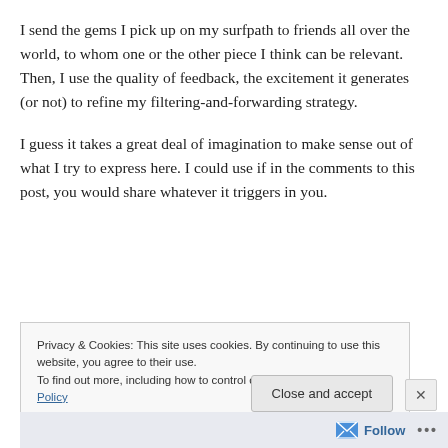I send the gems I pick up on my surfpath to friends all over the world, to whom one or the other piece I think can be relevant. Then, I use the quality of feedback, the excitement it generates (or not) to refine my filtering-and-forwarding strategy.
I guess it takes a great deal of imagination to make sense out of what I try to express here. I could use if in the comments to this post, you would share whatever it triggers in you.
Privacy & Cookies: This site uses cookies. By continuing to use this website, you agree to their use.
To find out more, including how to control cookies, see here: Cookie Policy